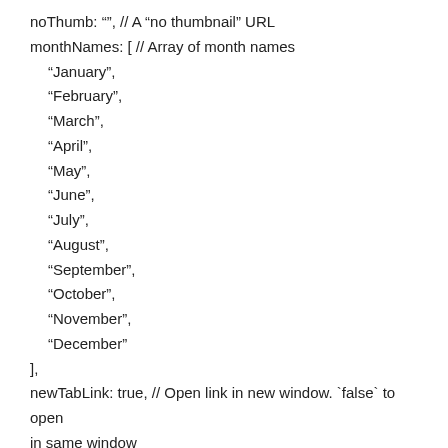noThumb: "", // A "no thumbnail" URL
monthNames: [ // Array of month names
"January",
"February",
"March",
"April",
"May",
"June",
"July",
"August",
"September",
"October",
"November",
"December"
],
newTabLink: true, // Open link in new window. `false` to open in same window